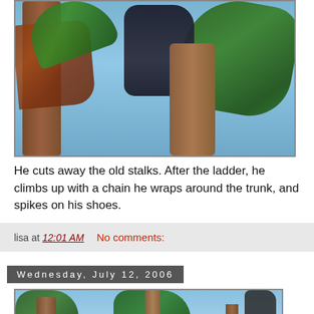[Figure (photo): A person trimming or cutting old stalks/fronds high up in a palm tree, viewed from below against a blue sky. Two palm tree trunks visible with green and brown/dead fronds.]
He cuts away the old stalks. After the ladder, he climbs up with a chain he wraps around the trunk, and spikes on his shoes.
lisa at 12:01 AM    No comments:
Wednesday, July 12, 2006
[Figure (photo): Outdoor scene showing palm trees and what appears to be a ladder or equipment against a blue sky, partial view.]